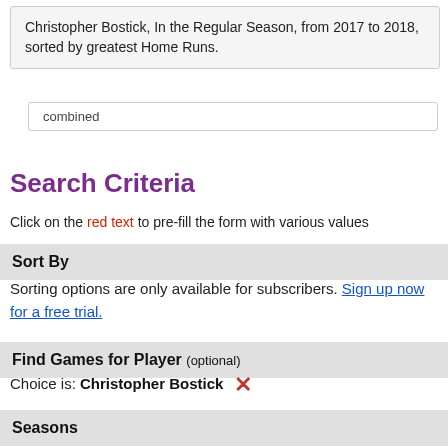Christopher Bostick, In the Regular Season, from 2017 to 2018, sorted by greatest Home Runs.
combined
Search Criteria
Click on the red text to pre-fill the form with various values
Sort By
Sorting options are only available for subscribers. Sign up now for a free trial.
Find Games for Player (optional)
Choice is: Christopher Bostick ✕
Seasons